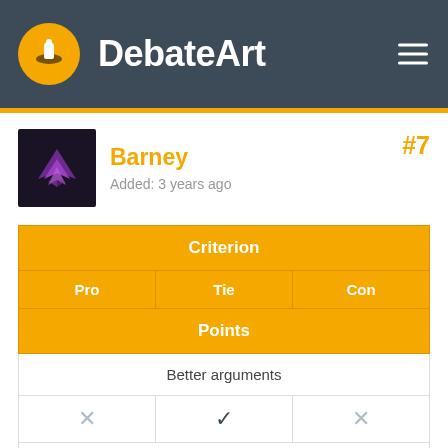DebateArt
Barney
Added: 3 years ago
#7
| Criterion |  |  |  |
| --- | --- | --- | --- |
| Pro | Tie | Con |
| Points |  |  |
| Better arguments |  |  |
| ✗ | ✓ | ✗ |
| 3 point(s) |  |  |
| Better sources |  |  |
| ✗ | ✓ | ✗ |
| 2 point(s) |  |  |